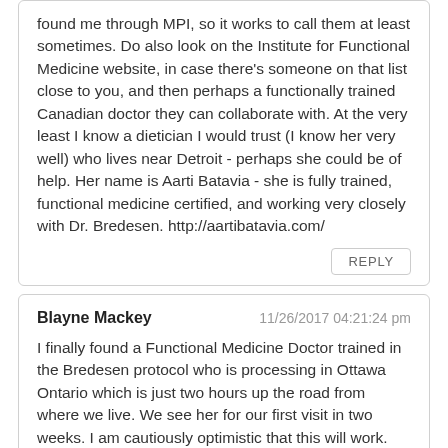found me through MPI, so it works to call them at least sometimes. Do also look on the Institute for Functional Medicine website, in case there's someone on that list close to you, and then perhaps a functionally trained Canadian doctor they can collaborate with. At the very least I know a dietician I would trust (I know her very well) who lives near Detroit - perhaps she could be of help. Her name is Aarti Batavia - she is fully trained, functional medicine certified, and working very closely with Dr. Bredesen. http://aartibatavia.com/
REPLY
Blayne Mackey
11/26/2017 04:21:24 pm
I finally found a Functional Medicine Doctor trained in the Bredesen protocol who is processing in Ottawa Ontario which is just two hours up the road from where we live. We see her for our first visit in two weeks. I am cautiously optimistic that this will work. There seems to be quite a bit of new evidence pointing in that direction. It sure would be nice to hear more of the success stories as that would give us all a bit more hope.